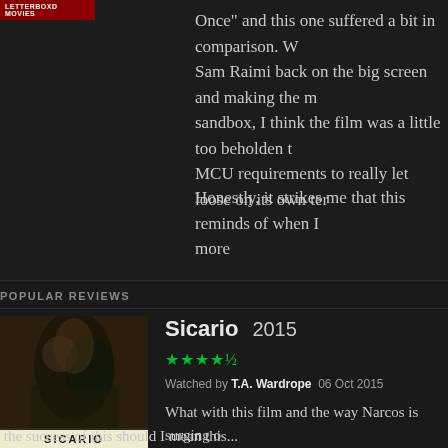[Figure (logo): Red badge logo for Letterboxd Movies site in top-left corner]
Once" and this one suffered a bit in comparison. W... Sam Raimi back on the big screen and making the m... sandbox, I think the film was a little too beholden t... MCU requirements to really let loose on its own ter...
Honestly, it strikes me that this reminds of when I ... more
POPULAR REVIEWS
[Figure (photo): Sicario (2015) movie poster showing dark figures with SICARIO text at bottom]
Sicario 2015
★★★★½ Watched by T.A. Wardrope 06 Oct 2015
What with this film and the way Narcos is surging o... almost imagine that the cartels are taking an old sc... approach to propoganda. They do have plenty of m... don't they?
the success of this should I mean this...